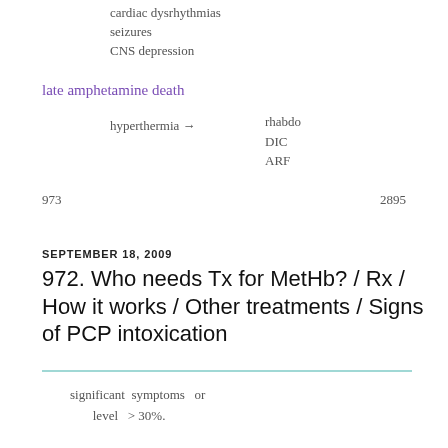cardiac dysrhythmias
seizures
CNS depression
late amphetamine death
hyperthermia → rhabdo
DIC
ARF
973	2895
SEPTEMBER 18, 2009
972. Who needs Tx for MetHb? / Rx / How it works / Other treatments / Signs of PCP intoxication
significant symptoms   or
          level   > 30%.